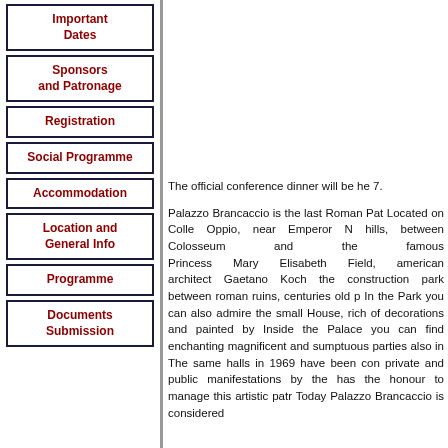Important Dates
Sponsors and Patronage
Registration
Social Programme
Accommodation
Location and General Info
Programme
Documents Submission
The official conference dinner will be held on September 7.
Palazzo Brancaccio is the last Roman Pat... Located on Colle Oppio, near Emperor N... hills, between Colosseum and the famous Princess Mary Elisabeth Field, american architect Gaetano Koch the construction park between roman ruins, centuries old p In the Park you can also admire the small House, rich of decorations and painted by Inside the Palace you can find enchanting magnificent and sumptuous parties also in The same halls in 1969 have been con private and public manifestations by the has the honour to manage this artistic patr Today Palazzo Brancaccio is considered...